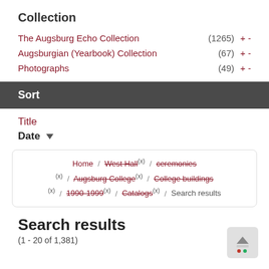Collection
The Augsburg Echo Collection (1265) + -
Augsburgian (Yearbook) Collection (67) + -
Photographs (49) + -
Sort
Title
Date ▼
Home / West Hall (x) / ceremonies (x) / Augsburg College (x) / College buildings (x) / 1990-1999 (x) / Catalogs (x) / Search results
Search results
(1 - 20 of 1,381)